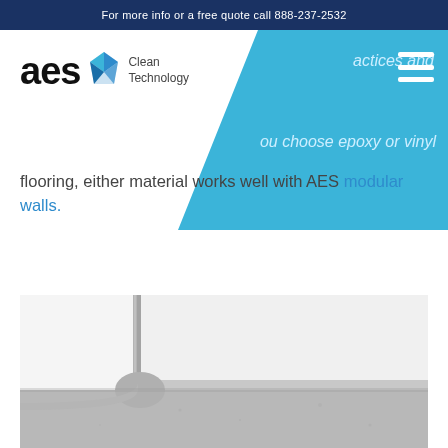For more info or a free quote call 888-237-2532
[Figure (logo): AES Clean Technology logo with diamond icon and company name]
...actices and ...ou choose epoxy or vinyl flooring, either material works well with AES modular walls.
[Figure (photo): Close-up photo of a cleanroom corner showing white modular wall panels meeting a grey epoxy or vinyl floor with a metal trim strip]